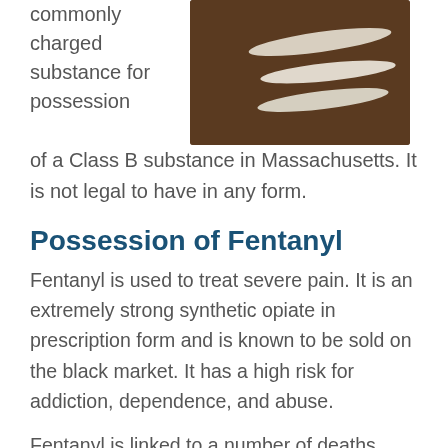commonly charged substance for possession
[Figure (photo): Photo of white powder lines arranged on a dark brown surface, resembling drug lines.]
of a Class B substance in Massachusetts. It is not legal to have in any form.
Possession of Fentanyl
Fentanyl is used to treat severe pain. It is an extremely strong synthetic opiate in prescription form and is known to be sold on the black market. It has a high risk for addiction, dependence, and abuse.
Fentanyl is linked to a number of deaths from overdose, particularly when mixed in unknowingly with heroin or other drugs.  It can be 50 to 100 times more potent than